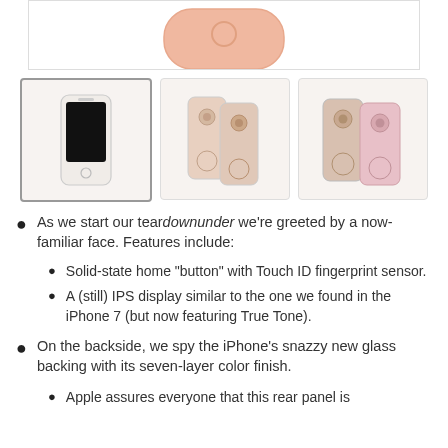[Figure (photo): Top portion of iPhone shown from above in a product display box with rounded corners, pink/rose gold color]
[Figure (photo): Three thumbnail images of iPhone 8: left shows front face with black screen (selected), center shows two iPhones from back in gold, right shows two iPhones from back in gold and rose gold]
As we start our teardownunder we're greeted by a now-familiar face. Features include:
Solid-state home "button" with Touch ID fingerprint sensor.
A (still) IPS display similar to the one we found in the iPhone 7 (but now featuring True Tone).
On the backside, we spy the iPhone's snazzy new glass backing with its seven-layer color finish.
Apple assures everyone that this rear panel is